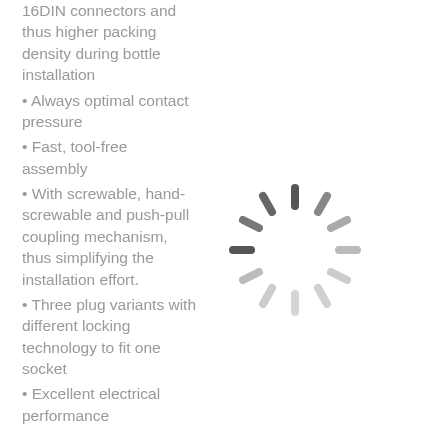16DIN connectors and thus higher packing density during bottle installation
Always optimal contact pressure
Fast, tool-free assembly
With screwable, hand-screwable and push-pull coupling mechanism, thus simplifying the installation effort.
Three plug variants with different locking technology to fit one socket
Excellent electrical performance
[Figure (illustration): Loading spinner / radial lines icon in gray, resembling a circular loading indicator with radiating dashes around a center point]